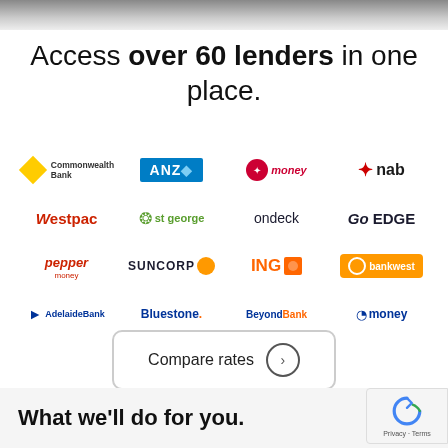Access over 60 lenders in one place.
[Figure (logo): Grid of lender logos: Commonwealth Bank, ANZ, Virgin Money, nab, Westpac, St George, ondeck, Go EDGE, pepper money, SUNCORP, ING, Bankwest, Adelaide Bank, Bluestone, BeyondBank, 86400 money]
Compare rates →
What we'll do for you.